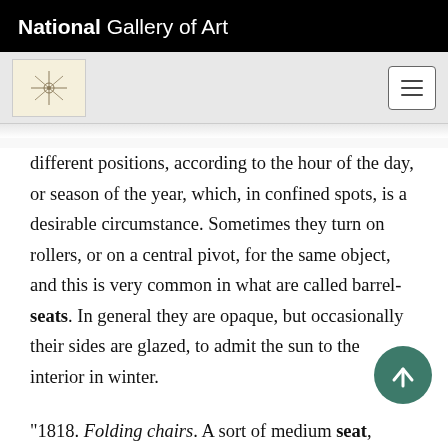National Gallery of Art
different positions, according to the hour of the day, or season of the year, which, in confined spots, is a desirable circumstance. Sometimes they turn on rollers, or on a central pivot, for the same object, and this is very common in what are called barrel-seats. In general they are opaque, but occasionally their sides are glazed, to admit the sun to the interior in winter.
“1818. Folding chairs. A sort of medium seat, between the roofed and the exposed, is formed by constructing the backs of chairs, benches, or sofas